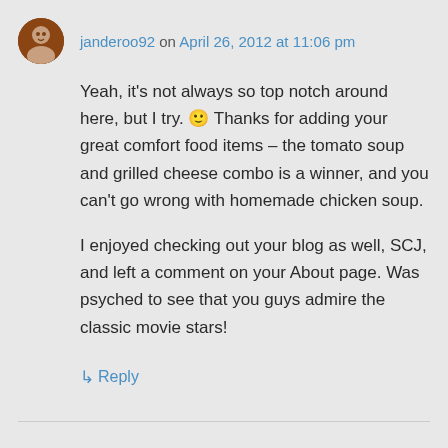janderoo92 on April 26, 2012 at 11:06 pm
Yeah, it's not always so top notch around here, but I try. 🙂 Thanks for adding your great comfort food items – the tomato soup and grilled cheese combo is a winner, and you can't go wrong with homemade chicken soup.
I enjoyed checking out your blog as well, SCJ, and left a comment on your About page. Was psyched to see that you guys admire the classic movie stars!
↳ Reply